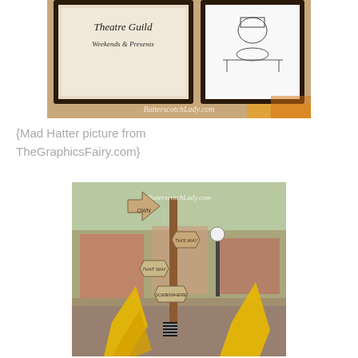[Figure (photo): Cropped photo showing framed signs for a Theatre Guild event with cursive text and a Mad Hatter illustration, with watermark 'ButtterscotchLady.com']
{Mad Hatter picture from TheGraphicsFairy.com}
[Figure (photo): Outdoor photo of a wooden directional sign post with multiple arrow signs reading 'OWN', 'THIS WAY', 'THAT WAY', 'SOMEWHERE', set in a town square with watermark 'ButterscotchLady.com'. Yellow decorative elements in foreground.]